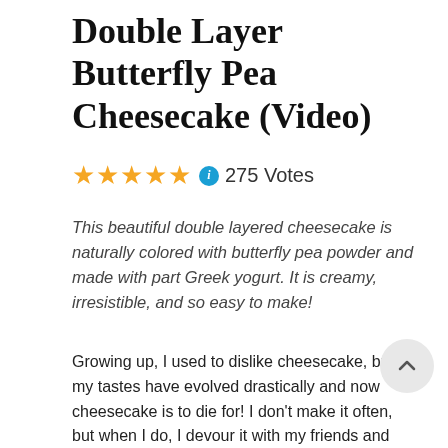Double Layer Butterfly Pea Cheesecake (Video)
★★★★★ ℹ 275 Votes
This beautiful double layered cheesecake is naturally colored with butterfly pea powder and made with part Greek yogurt. It is creamy, irresistible, and so easy to make!
Growing up, I used to dislike cheesecake, but my tastes have evolved drastically and now cheesecake is to die for! I don't make it often, but when I do, I devour it with my friends and family. A couple years ago, I started adding Greek yogurt into cheesecake batter for a lighter version of cheesecake. The outcome was delicious and